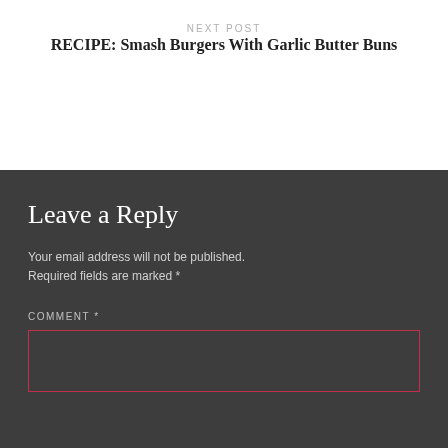NEXT POST
RECIPE: Smash Burgers With Garlic Butter Buns
Leave a Reply
Your email address will not be published. Required fields are marked *
COMMENT *